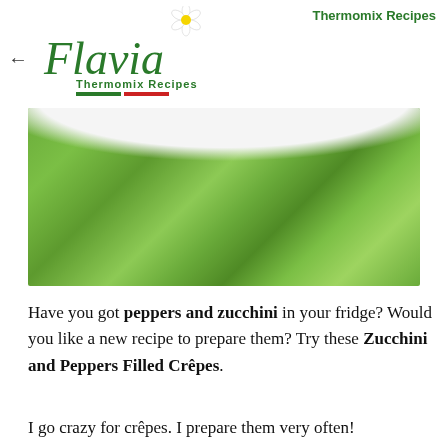Thermomix Recipes
[Figure (logo): Flavia Thermomix Recipes logo with cursive green Flavia text, flower icon, and Italian flag-colored underlines]
[Figure (photo): Close-up photo of a white ceramic bowl or plate on a green waffle-weave fabric/napkin background]
Have you got peppers and zucchini in your fridge? Would you like a new recipe to prepare them? Try these Zucchini and Peppers Filled Crêpes.
I go crazy for crêpes. I prepare them very often!